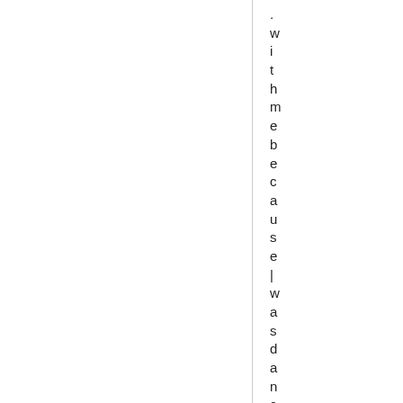. with me because | was dancing too mu